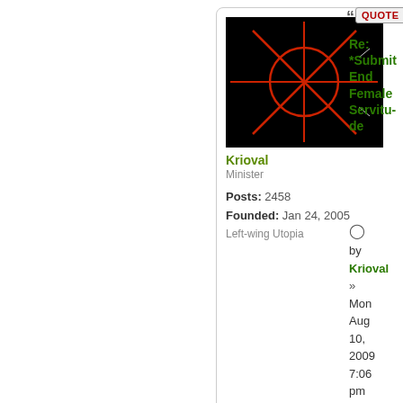[Figure (illustration): Black square avatar image with a red circle and red X cross-hair symbol drawn over it, on a black background.]
Krioval
Minister
Posts: 2458
Founded: Jan 24, 2005
Left-wing Utopia
[Figure (other): Quote button with quotation mark icon]
Re: *Submit End Female Servitude
D
by
Krioval
»
Mon Aug 10, 2009 7:06 pm